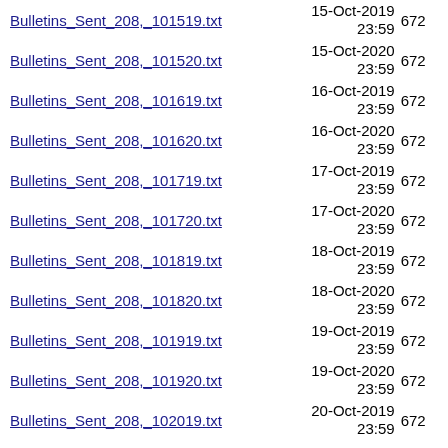Bulletins_Sent_208,_101519.txt  15-Oct-2019 23:59  672
Bulletins_Sent_208,_101520.txt  15-Oct-2020 23:59  672
Bulletins_Sent_208,_101619.txt  16-Oct-2019 23:59  672
Bulletins_Sent_208,_101620.txt  16-Oct-2020 23:59  672
Bulletins_Sent_208,_101719.txt  17-Oct-2019 23:59  672
Bulletins_Sent_208,_101720.txt  17-Oct-2020 23:59  672
Bulletins_Sent_208,_101819.txt  18-Oct-2019 23:59  672
Bulletins_Sent_208,_101820.txt  18-Oct-2020 23:59  672
Bulletins_Sent_208,_101919.txt  19-Oct-2019 23:59  672
Bulletins_Sent_208,_101920.txt  19-Oct-2020 23:59  672
Bulletins_Sent_208,_102019.txt  20-Oct-2019 23:59  672
Bulletins_Sent_208,_102020.txt  20-Oct-2020 23:59  672